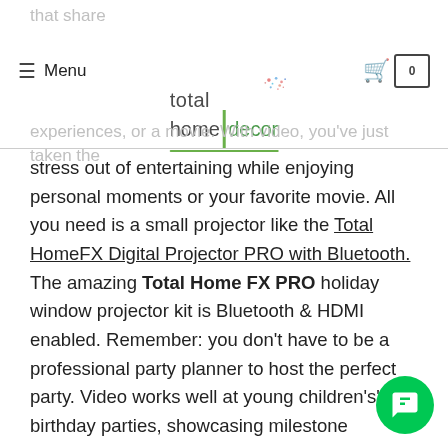total home decor — Menu / Cart
that share
experiences, or a movie. With video, you've just taken the
stress out of entertaining while enjoying personal moments or your favorite movie. All you need is a small projector like the Total HomeFX Digital Projector PRO with Bluetooth. The amazing Total Home FX PRO holiday window projector kit is Bluetooth & HDMI enabled. Remember: you don't have to be a professional party planner to host the perfect party. Video works well at young children's' birthday parties, showcasing milestone moments from the past year, as well as family reunions, engagement parties, anniversaries, graduations, and memorials. In the end, it's all about having fun and ensuring your guests have a good time. Check out our entertaining videos that you can simply download and share with friends